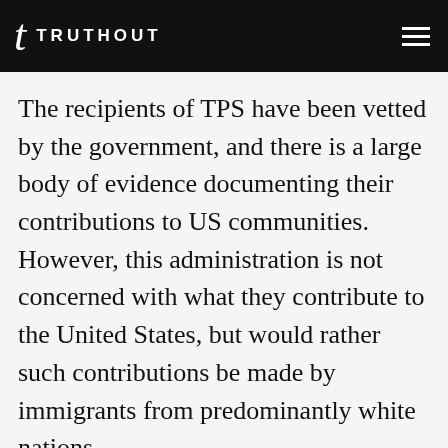TRUTHOUT
The recipients of TPS have been vetted by the government, and there is a large body of evidence documenting their contributions to US communities. However, this administration is not concerned with what they contribute to the United States, but would rather such contributions be made by immigrants from predominantly white nations.
Overall, the number of immigrant visas issued to African immigrants is significantly lower than those issued to recipients from other regions,